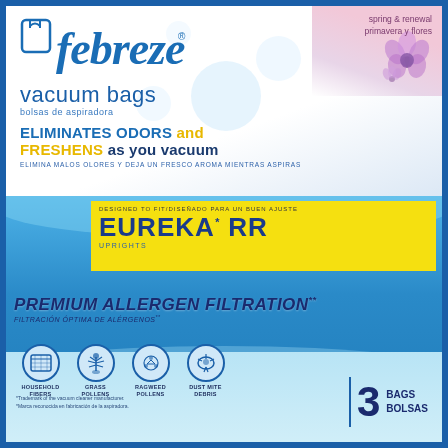[Figure (photo): Febreze vacuum bags product box for Eureka RR uprights, spring & renewal scent. Blue and white box with yellow compatibility label, premium allergen filtration claim, 4 allergen icons, 3 bags count.]
febreze vacuum bags
bolsas de aspiradora
spring & renewal
primavera y flores
ELIMINATES ODORS and FRESHENS as you vacuum
ELIMINA MALOS OLORES Y DEJA UN FRESCO AROMA MIENTRAS ASPIRAS
DESIGNED TO FIT/DISEÑADO PARA UN BUEN AJUSTE
EUREKA® RR UPRIGHTS
PREMIUM ALLERGEN FILTRATION**
FILTRACIÓN ÓPTIMA DE ALÉRGENOS**
HOUSEHOLD FIBERS  GRASS POLLENS  RAGWEED POLLENS  DUST MITE DEBRIS
*Trademark of the vacuum cleaner manufacturer.
*Marca reconocida en fabricación de la aspiradora.
3 BAGS BOLSAS